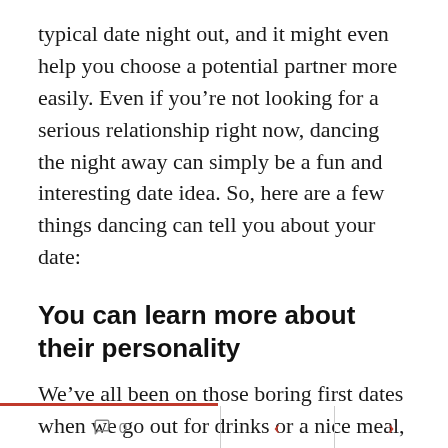typical date night out, and it might even help you choose a potential partner more easily. Even if you're not looking for a serious relationship right now, dancing the night away can simply be a fun and interesting date idea. So, here are a few things dancing can tell you about your date:
You can learn more about their personality
We've all been on those boring first dates when we go out for drinks or a nice meal, sit across the table from each other and go back